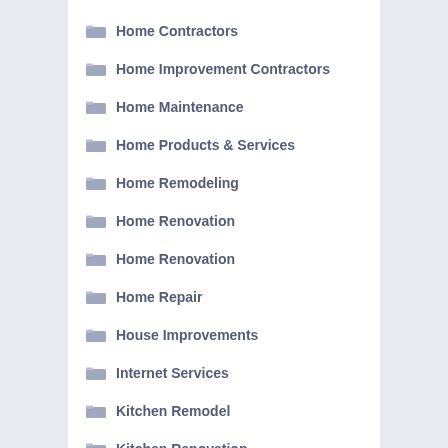Home Contractors
Home Improvement Contractors
Home Maintenance
Home Products & Services
Home Remodeling
Home Renovation
Home Renovation
Home Repair
House Improvements
Internet Services
Kitchen Remodel
Kitchen Renovation